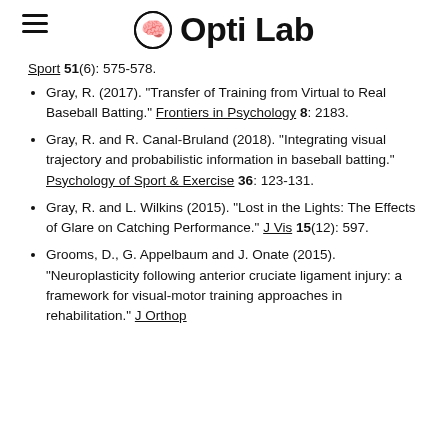Opti Lab
Sport 51(6): 575-578.
Gray, R. (2017). "Transfer of Training from Virtual to Real Baseball Batting." Frontiers in Psychology 8: 2183.
Gray, R. and R. Canal-Bruland (2018). "Integrating visual trajectory and probabilistic information in baseball batting." Psychology of Sport & Exercise 36: 123-131.
Gray, R. and L. Wilkins (2015). "Lost in the Lights: The Effects of Glare on Catching Performance." J Vis 15(12): 597.
Grooms, D., G. Appelbaum and J. Onate (2015). "Neuroplasticity following anterior cruciate ligament injury: a framework for visual-motor training approaches in rehabilitation." J Orthop